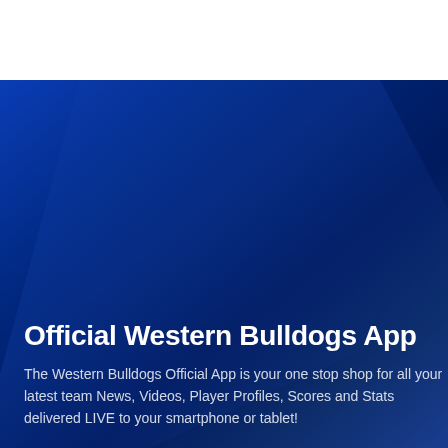[Figure (illustration): Dark blue gradient background with lighter blue diagonal highlight/reflection effect in the center-right area, suggesting a glossy app or screen surface.]
Official Western Bulldogs App
The Western Bulldogs Official App is your one stop shop for all your latest team News, Videos, Player Profiles, Scores and Stats delivered LIVE to your smartphone or tablet!